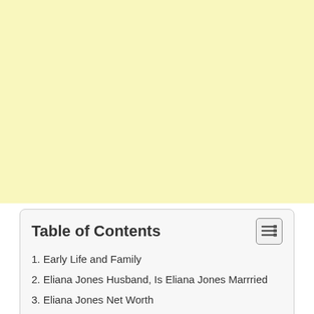[Figure (other): Light yellow background area filling the upper portion of the page]
Table of Contents
1. Early Life and Family
2. Eliana Jones Husband, Is Eliana Jones Marrried
3. Eliana Jones Net Worth
4. Professional career